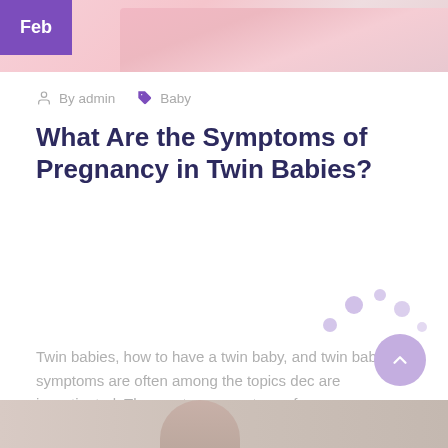[Figure (photo): Top image showing twin babies in pink clothing, partially cropped, with a purple 'Feb' badge overlay in top-left corner]
By admin  Baby
What Are the Symptoms of Pregnancy in Twin Babies?
Twin babies, how to have a twin baby, and twin baby symptoms are often among the topics dec are investigated. The most common type of
Read More
[Figure (photo): Bottom image showing a woman (mother), partially cropped, bottom of page]